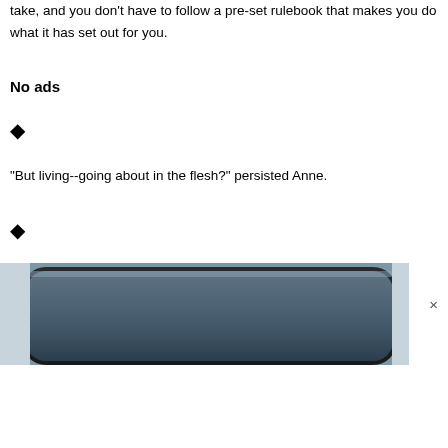take, and you don't have to follow a pre-set rulebook that makes you do what it has set out for you.
No ads
◆
"But living--going about in the flesh?" persisted Anne.
◆
[Figure (photo): Close-up of the top edge of a dark-colored smartphone or tablet device, showing rounded corners and a dark frame against a dark blue-grey surface. A small × (close) button appears in the lower right corner of the image.]